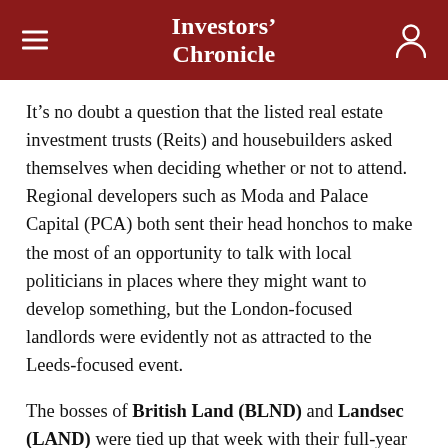Investors' Chronicle
It's no doubt a question that the listed real estate investment trusts (Reits) and housebuilders asked themselves when deciding whether or not to attend. Regional developers such as Moda and Palace Capital (PCA) both sent their head honchos to make the most of an opportunity to talk with local politicians in places where they might want to develop something, but the London-focused landlords were evidently not as attracted to the Leeds-focused event.
The bosses of British Land (BLND) and Landsec (LAND) were tied up that week with their full-year results, so sent a handful of less senior people instead. SEGRO (SGRO) and Great Portland Estates (GPE) also